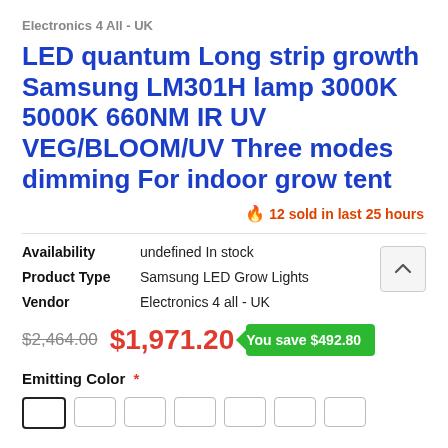Electronics 4 All - UK
LED quantum Long strip growth Samsung LM301H lamp 3000K 5000K 660NM IR UV VEG/BLOOM/UV Three modes dimming For indoor grow tent
🔥 12 sold in last 25 hours
| Field | Value |
| --- | --- |
| Availability | undefined In stock |
| Product Type | Samsung LED Grow Lights |
| Vendor | Electronics 4 all - UK |
$2,464.00  $1,971.20  You save $492.80
Emitting Color *
[Figure (other): Color swatch selector showing multiple rectangular swatches, first one selected/outlined]